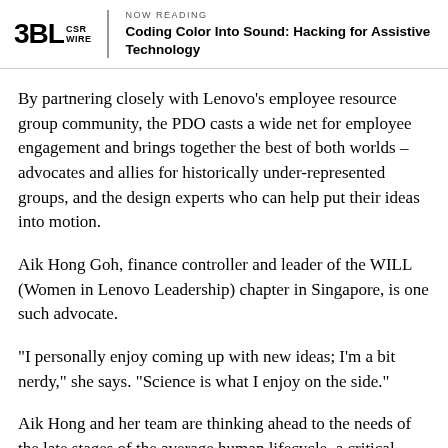3BL CSR WIRE — NOW READING: Coding Color Into Sound: Hacking for Assistive Technology
By partnering closely with Lenovo's employee resource group community, the PDO casts a wide net for employee engagement and brings together the best of both worlds – advocates and allies for historically under-represented groups, and the design experts who can help put their ideas into motion.
Aik Hong Goh, finance controller and leader of the WILL (Women in Lenovo Leadership) chapter in Singapore, is one such advocate.
“I personally enjoy coming up with new ideas; I’m a bit nerdy,” she says. “Science is what I enjoy on the side.”
Aik Hong and her team are thinking ahead to the needs of the late stages of the average human lifecycle, a critical juncture where the need for assistive technology grows the most.